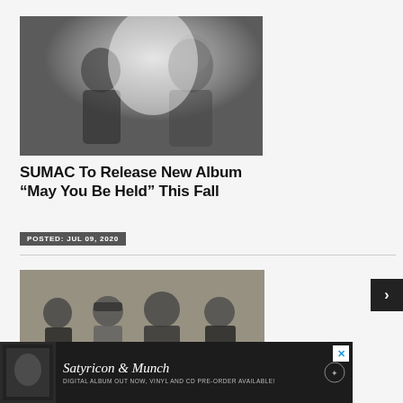[Figure (photo): Black and white photo of two musicians, one with long hair, in smoky atmospheric lighting]
SUMAC To Release New Album “May You Be Held” This Fall
POSTED: JUL 09, 2020
[Figure (photo): Color photo of four band members posing in front of a stone wall]
[Figure (other): Advertisement: Satyricon & Munch - Digital Album Out Now, Vinyl and CD Pre-Order Available!]